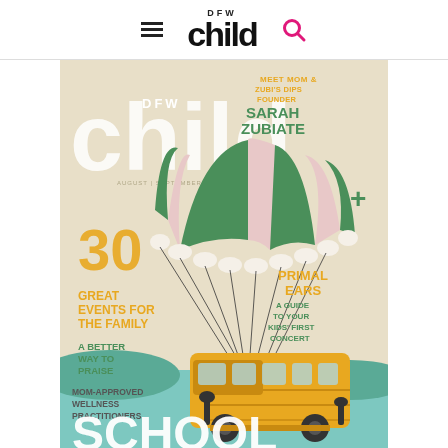DFW Child — Navigation Bar with hamburger menu, logo, and search icon
[Figure (illustration): DFW Child magazine cover for August/September 2022. Features a yellow school bus with a colorful green and pink parachute attached to its roof, set against a beige background. Left side text: '30 GREAT EVENTS FOR THE FAMILY', 'A BETTER WAY TO PRAISE', 'MOM-APPROVED WELLNESS PRACTITIONERS', 'SCHOOL...' in large display type. Right side text: 'MEET MOM & ZUBI'S DIPS FOUNDER SARAH ZUBIATE', '+', 'PRIMAL EARS A GUIDE TO YOUR KIDS' FIRST CONCERT'. Magazine masthead shows 'DFW child' in large white letters.]